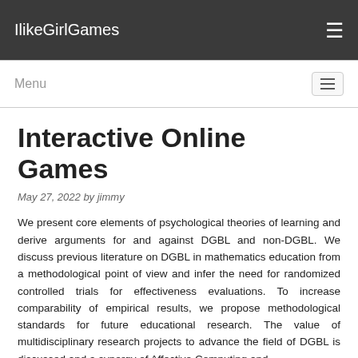IlikeGirlGames
Menu
Interactive Online Games
May 27, 2022 by jimmy
We present core elements of psychological theories of learning and derive arguments for and against DGBL and non-DGBL. We discuss previous literature on DGBL in mathematics education from a methodological point of view and infer the need for randomized controlled trials for effectiveness evaluations. To increase comparability of empirical results, we propose methodological standards for future educational research. The value of multidisciplinary research projects to advance the field of DGBL is discussed and a synergy of Affective Computing and